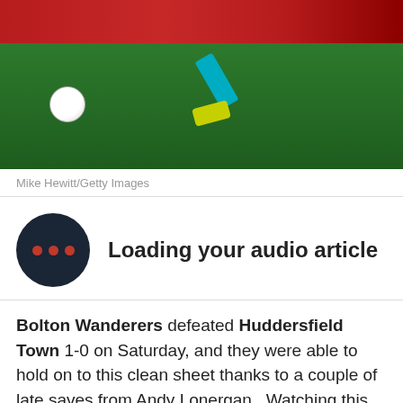[Figure (photo): Soccer/football action photo showing a player in blue kicking a ball on a green pitch, with red advertising boards in the background.]
Mike Hewitt/Getty Images
Loading your audio article
Bolton Wanderers defeated Huddersfield Town 1-0 on Saturday, and they were able to hold on to this clean sheet thanks to a couple of late saves from Andy Lonergan.  Watching this win while conspicuously sat on the sub's bench was Adam Bogdan.  It was his first appearance in the Bolton match day squad since August, when he was injured.